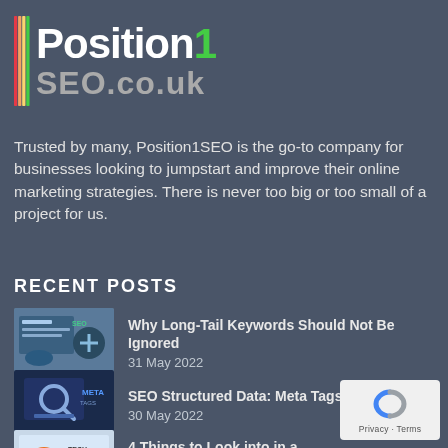[Figure (logo): Position1SEO.co.uk logo with multicolored vertical stripes on the left, 'Position1' in white bold text with '1' in green, and 'SEO.co.uk' in gray below]
Trusted by many, Position1SEO is the go-to company for businesses looking to jumpstart and improve their online marketing strategies. There is never too big or too small of a project for us.
RECENT POSTS
[Figure (photo): Thumbnail image for 'Why Long-Tail Keywords Should Not Be Ignored' post]
Why Long-Tail Keywords Should Not Be Ignored
31 May 2022
[Figure (photo): Thumbnail image for 'SEO Structured Data: Meta Tags That Matter' post]
SEO Structured Data: Meta Tags That Matter
30 May 2022
[Figure (photo): Thumbnail image for '4 Things to Look into in a Technical SEO Audit' post]
4 Things to Look into in a Technical SEO Audit
27 May 2022
[Figure (logo): Google reCAPTCHA badge with blue/gray 'c' icon and 'Privacy - Terms' text on white rounded rectangle background]